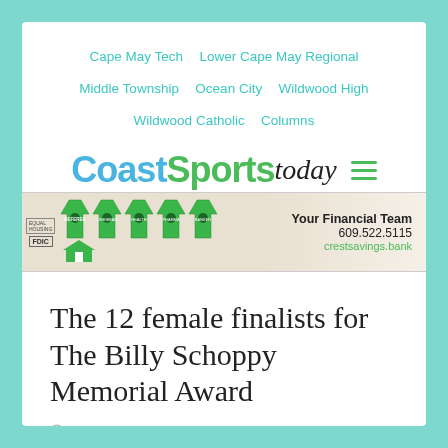Cape May Tech  Lower Cape May Regional  Middle Township  Ocean City  Wildwood High  Wildwood Catholic  Columns
[Figure (logo): CoastSportstoday logo with hamburger menu icon]
[Figure (photo): Crest Savings Bank advertisement banner showing green sports jerseys and bank branding. Text: Your Financial Team 609.522.5115 crestsavings.bank]
The 12 female finalists for The Billy Schoppy Memorial Award
May 30, 2018